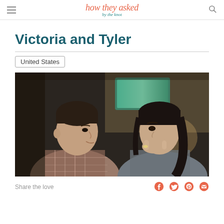how they asked by the knot
Victoria and Tyler
United States
[Figure (photo): A man and woman at a restaurant or bar, facing each other. The man is on the left wearing a plaid shirt, the woman on the right has dark hair and her hand raised to her mouth, appearing surprised or emotional. A TV screen is visible in the blurred background.]
Share the love